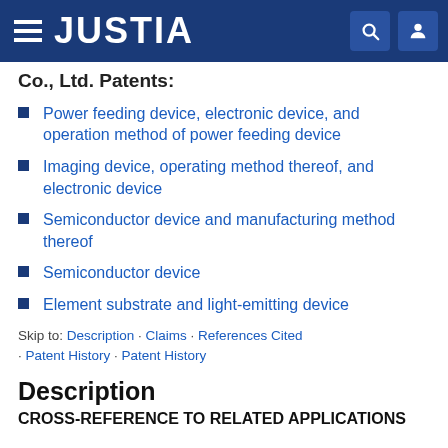JUSTIA
Co., Ltd. Patents:
Power feeding device, electronic device, and operation method of power feeding device
Imaging device, operating method thereof, and electronic device
Semiconductor device and manufacturing method thereof
Semiconductor device
Element substrate and light-emitting device
Skip to: Description · Claims · References Cited · Patent History · Patent History
Description
CROSS-REFERENCE TO RELATED APPLICATIONS